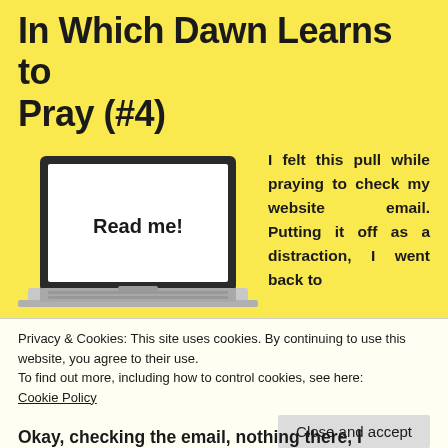In Which Dawn Learns to Pray (#4)
[Figure (illustration): Laptop computer with screen displaying text 'Read me!']
I felt this pull while praying to check my website email. Putting it off as a distraction, I went back to
Privacy & Cookies: This site uses cookies. By continuing to use this website, you agree to their use.
To find out more, including how to control cookies, see here:
Cookie Policy
Close and accept
Okay, checking the email, nothing there, I